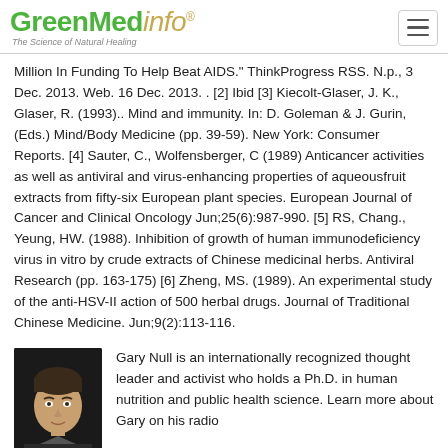GreenMedInfo — The Science of Natural Healing
Million In Funding To Help Beat AIDS." ThinkProgress RSS. N.p., 3 Dec. 2013. Web. 16 Dec. 2013. . [2] Ibid [3] Kiecolt-Glaser, J. K., Glaser, R. (1993).. Mind and immunity. In: D. Goleman & J. Gurin, (Eds.) Mind/Body Medicine (pp. 39-59). New York: Consumer Reports. [4] Sauter, C., Wolfensberger, C (1989) Anticancer activities as well as antiviral and virus-enhancing properties of aqueousfruit extracts from fifty-six European plant species. European Journal of Cancer and Clinical Oncology Jun;25(6):987-990. [5] RS, Chang., Yeung, HW. (1988). Inhibition of growth of human immunodeficiency virus in vitro by crude extracts of Chinese medicinal herbs. Antiviral Research (pp. 163-175) [6] Zheng, MS. (1989). An experimental study of the anti-HSV-II action of 500 herbal drugs. Journal of Traditional Chinese Medicine. Jun;9(2):113-116.
Gary Null is an internationally recognized thought leader and activist who holds a Ph.D. in human nutrition and public health science. Learn more about Gary on his radio